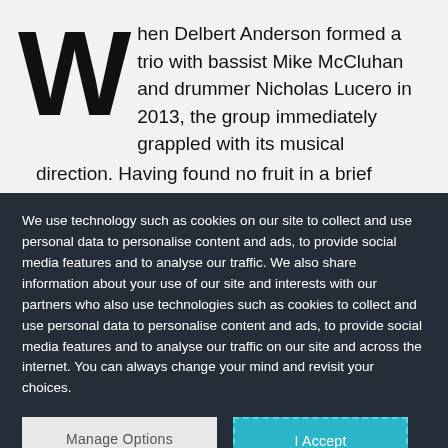When Delbert Anderson formed a trio with bassist Mike McCluhan and drummer Nicholas Lucero in 2013, the group immediately grappled with its musical direction. Having found no fruit in a brief pursuit of
We use technology such as cookies on our site to collect and use personal data to personalise content and ads, to provide social media features and to analyse our traffic. We also share information about your use of our site and interests with our partners who also use technologies such as cookies to collect and use personal data to personalise content and ads, to provide social media features and to analyse our traffic on our site and across the internet. You can always change your mind and revisit your choices.